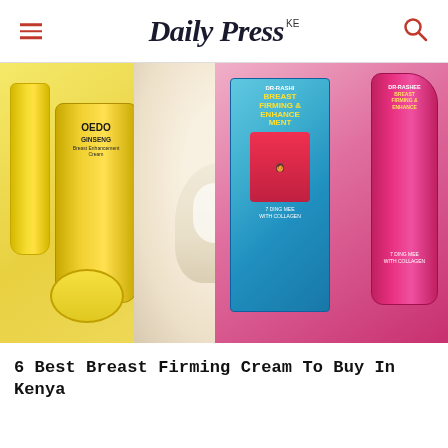Daily Press KE
[Figure (photo): Product photo showing OEDO Ginseng Breast Enhancement Cream tube and packaging on left (yellow), and DR RASHEL Breast Firming and Enhancement Cream tube and box on right (pink/magenta), with a woman in a white top visible in the center background.]
6 Best Breast Firming Cream To Buy In Kenya